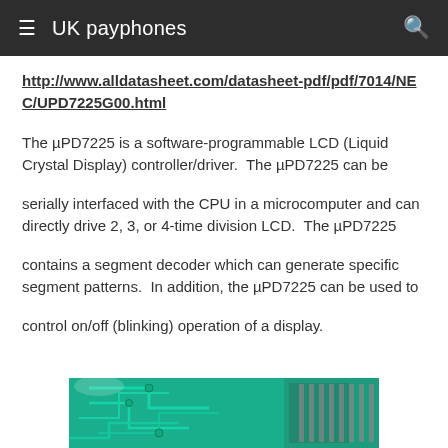UK payphones
http://www.alldatasheet.com/datasheet-pdf/pdf/7014/NEC/UPD7225G00.html
The µPD7225 is a software-programmable LCD (Liquid Crystal Display) controller/driver.  The µPD7225 can be
serially interfaced with the CPU in a microcomputer and can directly drive 2, 3, or 4-time division LCD.  The µPD7225
contains a segment decoder which can generate specific segment patterns.  In addition, the µPD7225 can be used to
control on/off (blinking) operation of a display.
[Figure (photo): Close-up photograph of a green PCB (printed circuit board) showing circuit traces and components including what appears to be an IC chip with pins.]